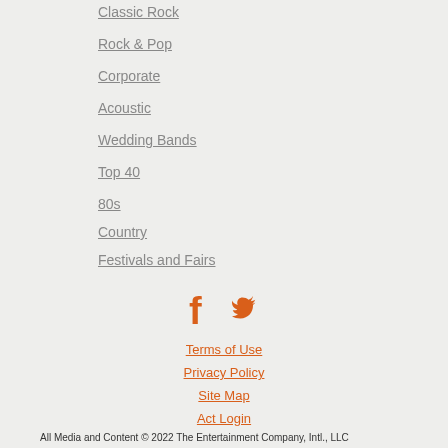Classic Rock
Rock & Pop
Corporate
Acoustic
Wedding Bands
Top 40
80s
Country
Festivals and Fairs
[Figure (illustration): Facebook and Twitter social media icons in orange color]
Terms of Use
Privacy Policy
Site Map
Act Login
All Media and Content © 2022 The Entertainment Company, Intl., LLC